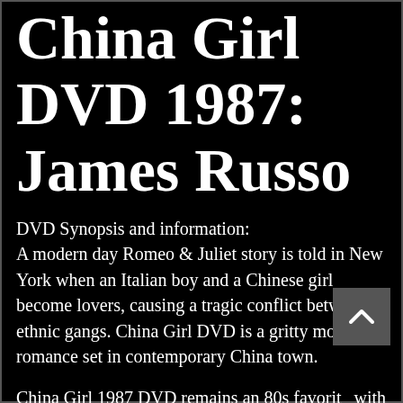China Girl DVD 1987: James Russo
DVD Synopsis and information:
A modern day Romeo & Juliet story is told in New York when an Italian boy and a Chinese girl become lovers, causing a tragic conflict between ethnic gangs. China Girl DVD is a gritty modern romance set in contemporary China town.
China Girl 1987 DVD remains an 80s favorite with drama and action fans.